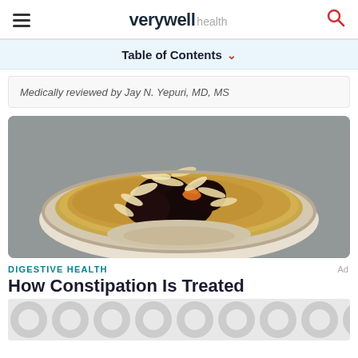verywell health
Table of Contents
Medically reviewed by Jay N. Yepuri, MD, MS
[Figure (photo): Bowl of oatmeal topped with prunes, dried apricots, and sliced almonds on a gray background]
DIGESTIVE HEALTH
How Constipation Is Treated
[Figure (other): Advertisement banner with repeating circular pattern]